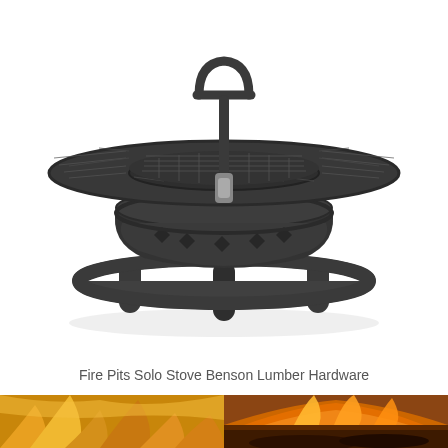[Figure (photo): A large black metal fire pit with a round cooking grate on top, mesh panels, decorative cutout pattern on the bowl, a central post, and a circular ring base with legs. The product is photographed against a white background.]
Fire Pits Solo Stove Benson Lumber Hardware
[Figure (photo): Bottom-left partial photo showing a golden flame or fire element, close-up, warm orange and yellow tones.]
[Figure (photo): Bottom-right partial photo showing fire and burning wood, warm orange and brown tones.]